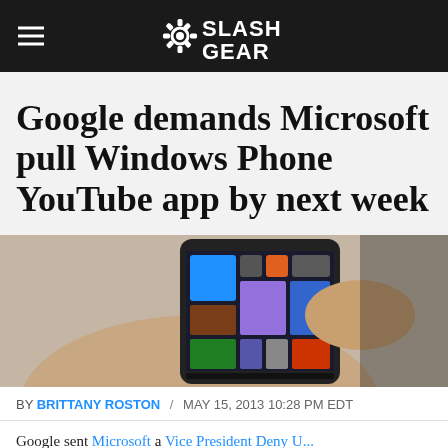SlashGear
Google demands Microsoft pull Windows Phone YouTube app by next week
[Figure (photo): Hand holding a Windows Phone smartphone displaying colorful Live Tiles on the home screen]
BY BRITTANY ROSTON / MAY 15, 2013 10:28 PM EDT
Google sent Microsoft a Cease-and-Desist Letter, U...